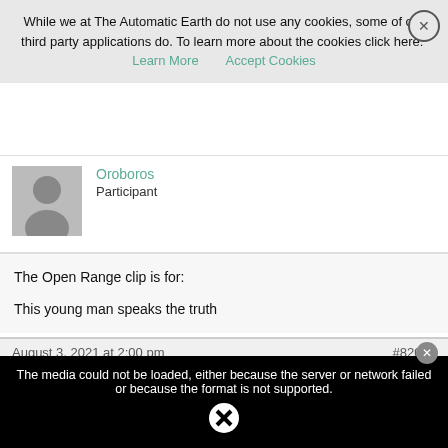While we at The Automatic Earth do not use any cookies, some of our third party applications do. To learn more about the cookies click here: Learn More  Accept Cookies
Oroboros
Participant
The Open Range clip is for:

This young man speaks the truth
August 3, 2021 at 2:00 pm   #82085
madamski cafone
Participant
The media could not be loaded, either because the server or network failed or because the format is not supported.